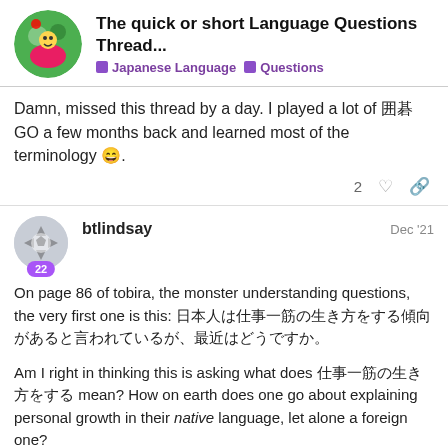The quick or short Language Questions Thread... | Japanese Language | Questions
Damn, missed this thread by a day. I played a lot of 囲碁GO a few months back and learned most of the terminology 😄.
btlindsay Dec '21
On page 86 of tobira, the monster understanding questions, the very first one is this: 日本人は仕事一筋の生き方をする傾向があると言われているが、最近はどうですか。
Am I right in thinking this is asking what does 仕事一筋の生き方をする mean? How on earth does one go about explaining personal growth in their native language, let alone a foreign one?
linchou
2992 / 4062